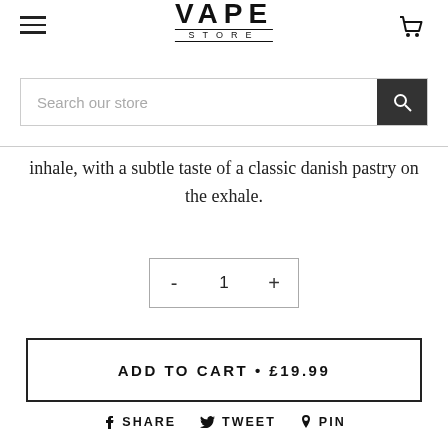VAPE STORE
Search our store
inhale, with a subtle taste of a classic danish pastry on the exhale.
- 1 +
ADD TO CART • £19.99
SHARE  TWEET  PIN